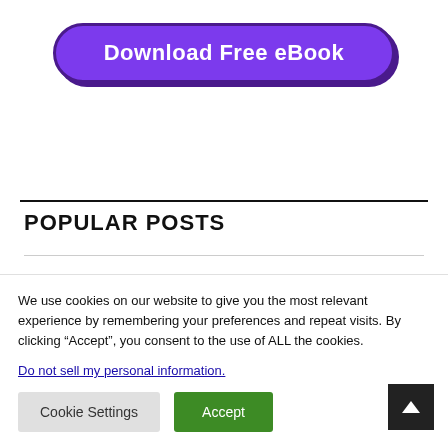[Figure (illustration): Purple rounded button with bold white text reading 'Download Free eBook' with dark purple border and shadow]
POPULAR POSTS
We use cookies on our website to give you the most relevant experience by remembering your preferences and repeat visits. By clicking “Accept”, you consent to the use of ALL the cookies.
Do not sell my personal information.
Cookie Settings   Accept